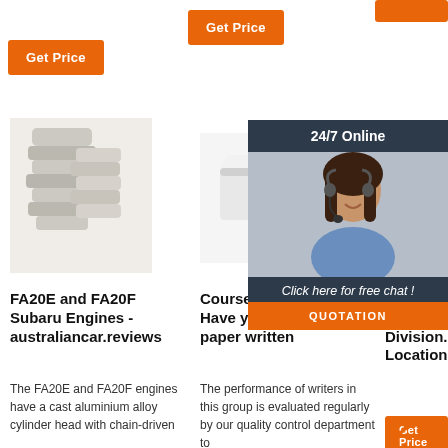[Figure (other): Orange Get Price button top left]
[Figure (other): Orange Get Price button top center]
[Figure (other): Orange Get Price button top right (partially visible)]
[Figure (photo): Product photo 1: grey foam-like cylinder head parts]
[Figure (photo): Product photo 2: white cylindrical foam block]
[Figure (photo): Product photo 3: tan/beige block (partially visible)]
[Figure (photo): 24/7 Online chat overlay with woman in headset, Click here for free chat, QUOTATION button]
FA20E and FA20F Subaru Engines - australiancar.reviews
Course Help Online - Have your academic paper written
Item Value Report 13.71 Division Location:
The FA20E and FA20F engines have a cast aluminium alloy cylinder head with chain-driven
The performance of writers in this group is evaluated regularly by our quality control department to
[Figure (other): Orange Get Price button bottom third column]
[Figure (logo): TOP logo icon orange house with dots]